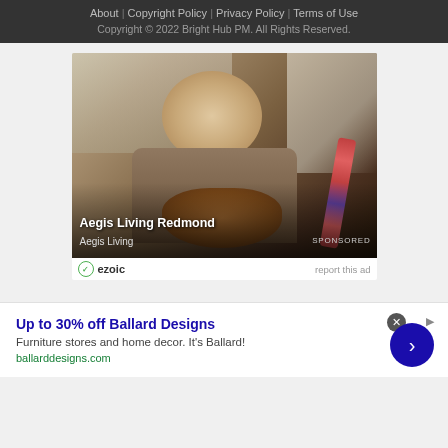About | Copyright Policy | Privacy Policy | Terms of Use
Copyright © 2022 Bright Hub PM. All Rights Reserved.
[Figure (photo): Sponsored advertisement photo showing an elderly man smiling and playing guitar, wearing a tan blazer and floral-strap guitar. Text overlay reads 'Aegis Living Redmond' / 'Aegis Living' / 'SPONSORED']
ezoic   report this ad
[Figure (other): Ballard Designs advertisement banner: 'Up to 30% off Ballard Designs' — Furniture stores and home decor. It's Ballard! — ballarddesigns.com — with close button and arrow navigation button]